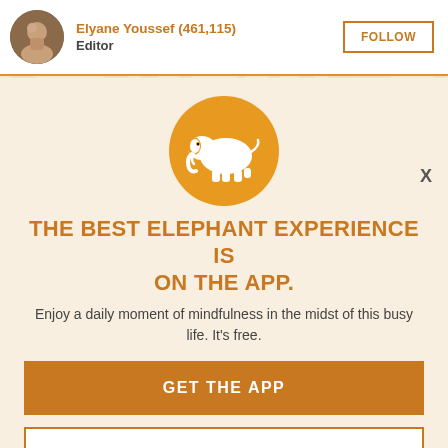Elyane Youssef (461,115) Editor FOLLOW
X
[Figure (illustration): Orange circle with white elephant silhouette icon]
THE BEST ELEPHANT EXPERIENCE IS ON THE APP.
Enjoy a daily moment of mindfulness in the midst of this busy life. It's free.
GET THE APP
OPEN IN APP